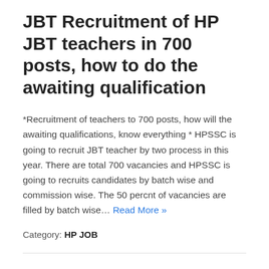JBT Recruitment of HP JBT teachers in 700 posts, how to do the awaiting qualification
*Recruitment of teachers to 700 posts, how will the awaiting qualifications, know everything * HPSSC is going to recruit JBT teacher by two process in this year. There are total 700 vacancies and HPSSC is going to recruits candidates by batch wise and commission wise. The 50 percnt of vacancies are filled by batch wise… Read More »
Category: HP JOB